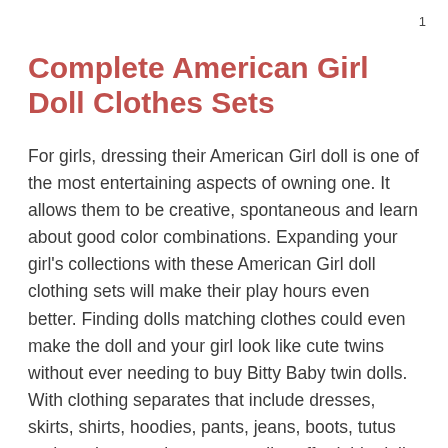1
Complete American Girl Doll Clothes Sets
For girls, dressing their American Girl doll is one of the most entertaining aspects of owning one. It allows them to be creative, spontaneous and learn about good color combinations. Expanding your girl's collections with these American Girl doll clothing sets will make their play hours even better. Finding dolls matching clothes could even make the doll and your girl look like cute twins without ever needing to buy Bitty Baby twin dolls. With clothing separates that include dresses, skirts, shirts, hoodies, pants, jeans, boots, tutus and much more, these top-quality, affordable doll matching outfits will provide endless combination opportunities. More outfits, more imagination, more possibilities and more fun.